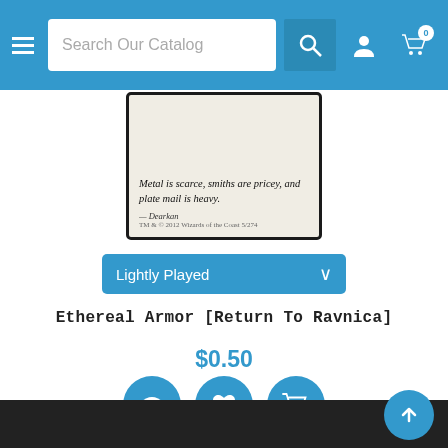Search Our Catalog
[Figure (photo): Magic: The Gathering card showing flavor text: 'Metal is scarce, smiths are pricey, and plate mail is heavy.' with attribution to Dearkan]
Lightly Played
Ethereal Armor [Return To Ravnica]
$0.50
[Figure (infographic): Three circular blue action buttons: eye/view icon, heart/wishlist icon, shopping cart icon]
[Figure (infographic): Two pagination circles]